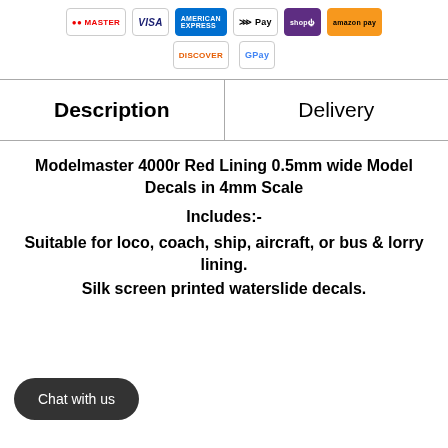[Figure (other): Row of payment method icons: Mastercard, Visa, American Express, Apple Pay, Shop Pay, Amazon Pay]
[Figure (other): Second row of payment method icons: Discover, Google Pay]
| Description | Delivery |
| --- | --- |
Modelmaster 4000r Red Lining 0.5mm wide Model Decals in 4mm Scale
Includes:-
Suitable for loco, coach, ship, aircraft, or bus & lorry lining.
Silk screen printed waterslide decals.